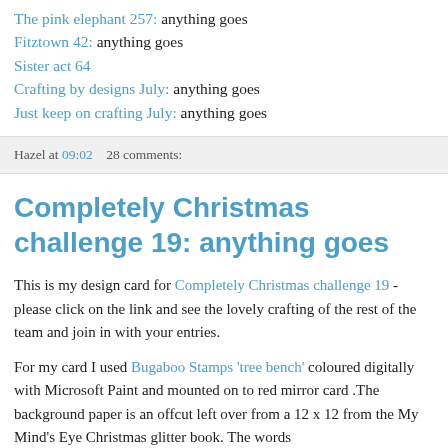The pink elephant 257: anything goes
Fitztown 42: anything goes
Sister act 64
Crafting by designs July: anything goes
Just keep on crafting July: anything goes
Hazel at 09:02    28 comments:
Completely Christmas challenge 19: anything goes
This is my design card for Completely Christmas challenge 19 - please click on the link and see the lovely crafting of the rest of the team and join in with your entries.
For my card I used Bugaboo Stamps 'tree bench' coloured digitally with Microsoft Paint and mounted on to red mirror card .The background paper is an offcut left over from a 12 x 12 from the My Mind's Eye Christmas glitter book. The words